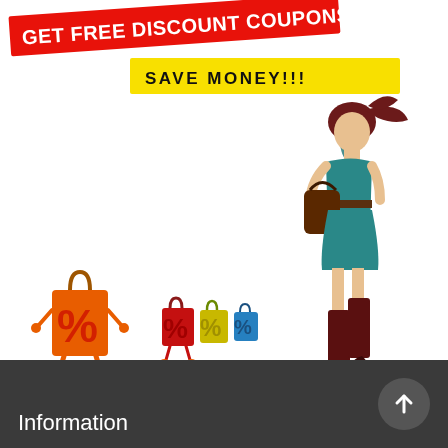[Figure (illustration): Promotional illustration with a red diagonal banner reading GET FREE DISCOUNT COUPONS, a yellow banner reading SAVE MONEY!!!, and a stylized woman in teal dress and dark red boots carrying a handbag, walking away from animated shopping bags with percent signs.]
Information